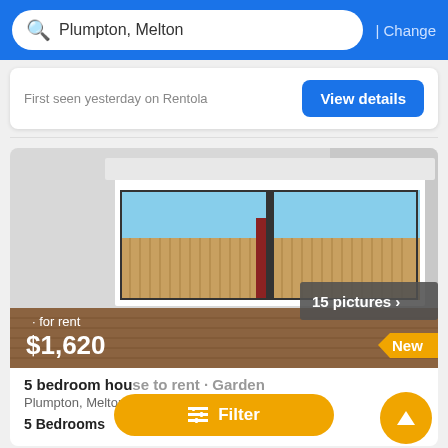Plumpton, Melton | Change
First seen yesterday on Rentola
View details
[Figure (photo): Interior room photo showing a large sliding window with view of wooden fence and blue sky, empty room with timber floor, used as property listing image. Overlaid with 'for rent', '$1,620', '15 pictures >', and 'New' badge.]
5 bedroom house to rent · Garden
Plumpton, Melton
5 Bedrooms
Filter